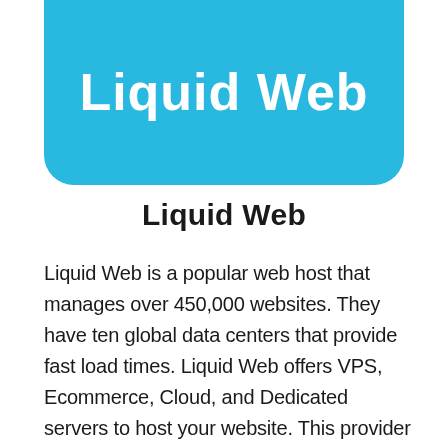[Figure (logo): Liquid Web logo — white text 'Liquid Web' on a rounded-bottom sky-blue rectangle]
Liquid Web
Liquid Web is a popular web host that manages over 450,000 websites. They have ten global data centers that provide fast load times. Liquid Web offers VPS, Ecommerce, Cloud, and Dedicated servers to host your website. This provider does not offer any shared hosting servers. They are one of the top hosting companies that can handle the needs of just about any website. This is